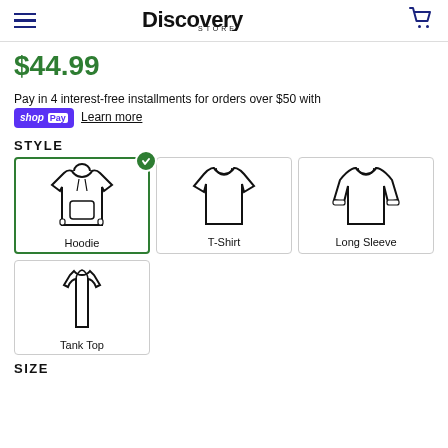Discovery Store
$44.99
Pay in 4 interest-free installments for orders over $50 with shop Pay Learn more
STYLE
[Figure (illustration): Four clothing style options: Hoodie (selected with green checkmark), T-Shirt, Long Sleeve, Tank Top]
SIZE